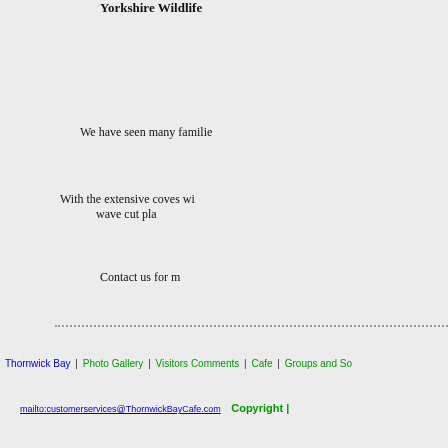Yorkshire Wildlife
We have seen many familie
With the extensive coves wi
wave cut pla
Contact us for m
Thornwick Bay | Photo Gallery | Visitors Comments | Cafe | Groups and So
mailto:customerservices@ThornwickBayCafe.com  Copyright |